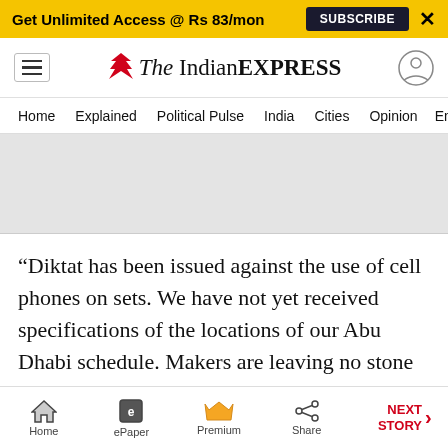Get Unlimited Access @ Rs 83/mon   SUBSCRIBE   X
The Indian EXPRESS
Home   Explained   Political Pulse   India   Cities   Opinion   Entertainment
[Figure (other): Gray advertisement placeholder banner]
“Diktat has been issued against the use of cell phones on sets. We have not yet received specifications of the locations of our Abu Dhabi schedule. Makers are leaving no stone unturned to ensure that no content from the sets is leaked and for the same have kept shoot locations a
Home   ePaper   Premium   Share   NEXT STORY